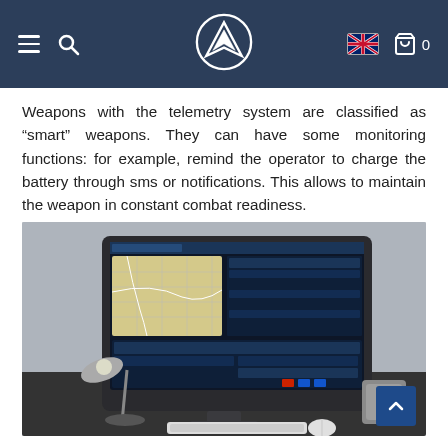Navigation header with hamburger menu, search icon, logo, UK flag, and cart (0)
Weapons with the telemetry system are classified as "smart" weapons. They can have some monitoring functions: for example, remind the operator to charge the battery through sms or notifications. This allows to maintain the weapon in constant combat readiness.
[Figure (photo): A desktop computer monitor displaying a dark blue military/weapons telemetry management software with map and data panels, placed on a dark desk alongside a silver desk lamp, keyboard, and mouse.]